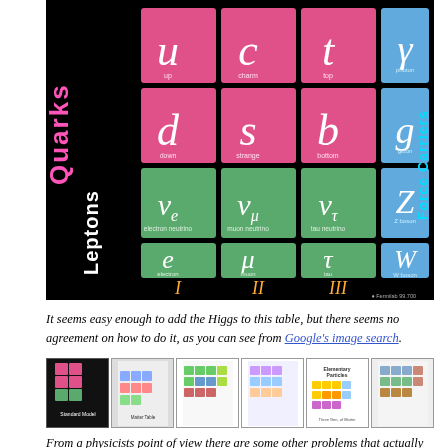[Figure (illustration): Standard Model of particle physics diagram showing quarks (u, c, t, d, s, b), leptons (νe, νμ, ντ, e, μ, τ), and force carriers (γ, g, Z, W). Three Generations of Matter labeled I, II, III. Pink cells for quarks, green for leptons, blue for force carriers. Femilab logo at bottom right.]
It seems easy enough to add the Higgs to this table, but there seems no agreement on how to do it, as you can see from Google's image search.
[Figure (illustration): Strip of thumbnail images showing various versions of the Standard Model particle table from Google image search results.]
From a physicists point of view there are some other problems that actually have to do with the standard model in detail